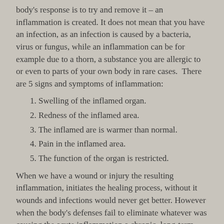body's response is to try and remove it – an inflammation is created. It does not mean that you have an infection, as an infection is caused by a bacteria, virus or fungus, while an inflammation can be for example due to a thorn, a substance you are allergic to or even to parts of your own body in rare cases.  There are 5 signs and symptoms of inflammation:
1. Swelling of the inflamed organ.
2. Redness of the inflamed area.
3. The inflamed are is warmer than normal.
4. Pain in the inflamed area.
5. The function of the organ is restricted.
When we have a wound or injury the resulting inflammation, initiates the healing process, without it wounds and infections would never get better. However when the body's defenses fail to eliminate whatever was causing the acute inflammation a chronic, long-term inflammation, which can last for several months and even years is caused. A chronic inflammation, can become self-perpetuating, leading to more inflammation